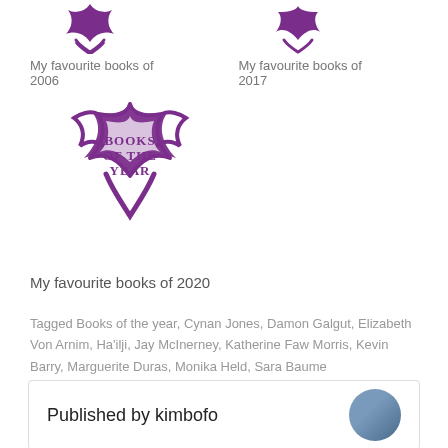[Figure (logo): Purple star-shaped 'Books of the Year' logo, small size]
My favourite books of 2006
[Figure (logo): Purple star-shaped 'Books of the Year' logo, small size]
My favourite books of 2017
[Figure (logo): Purple star-shaped 'Books of the Year' logo, large size with text 'BOOKS OF THE YEAR' inside]
My favourite books of 2020
Tagged Books of the year, Cynan Jones, Damon Galgut, Elizabeth Von Arnim, Ha'ilji, Jay McInerney, Katherine Faw Morris, Kevin Barry, Marguerite Duras, Monika Held, Sara Baume
Published by kimbofo